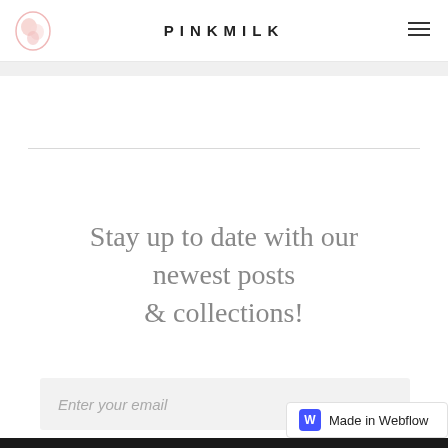PINKMILK
Stay up to date with our newest posts & collections!
Enter your email